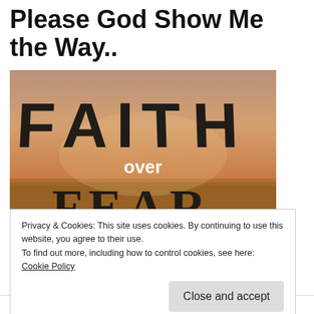Please God Show Me the Way..
[Figure (illustration): Image showing the words 'FAITH over FEAR' in bold brushstroke lettering against a warm golden sunset/field background. 'FAITH' appears in large black brushstroke capitals at the top, 'over' in smaller white text in the middle, and 'FEAR' in large black serif-style capitals below, all on a hazy amber landscape background.]
Privacy & Cookies: This site uses cookies. By continuing to use this website, you agree to their use.
To find out more, including how to control cookies, see here:
Cookie Policy
Close and accept
-Stevie Nicks, "Show them the Way"